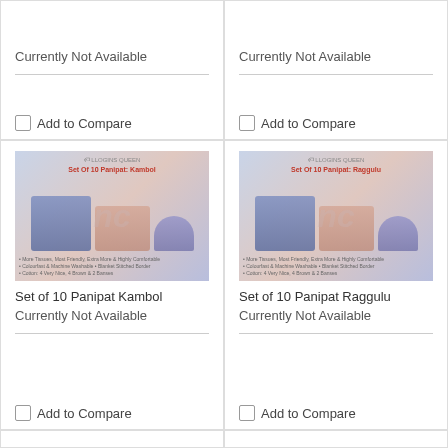Currently Not Available
Currently Not Available
Add to Compare
Add to Compare
[Figure (photo): Set of 10 Panipat Kambol product image showing stacked blankets/textiles]
Set of 10 Panipat Kambol
Currently Not Available
Add to Compare
[Figure (photo): Set of 10 Panipat Raggulu product image showing stacked blankets/textiles]
Set of 10 Panipat Raggulu
Currently Not Available
Add to Compare